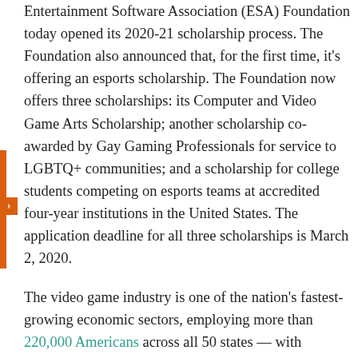Entertainment Software Association (ESA) Foundation today opened its 2020-21 scholarship process. The Foundation also announced that, for the first time, it's offering an esports scholarship. The Foundation now offers three scholarships: its Computer and Video Game Arts Scholarship; another scholarship co-awarded by Gay Gaming Professionals for service to LGBTQ+ communities; and a scholarship for college students competing on esports teams at accredited four-year institutions in the United States. The application deadline for all three scholarships is March 2, 2020.
The video game industry is one of the nation's fastest-growing economic sectors, employing more than 220,000 Americans across all 50 states — with increasing job opportunities. As a highly technical, skilled occupation, video game design and development has made its way into